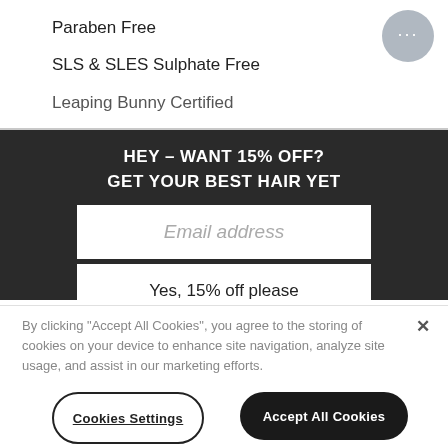Paraben Free
SLS & SLES Sulphate Free
Leaping Bunny Certified
HEY – WANT 15% OFF?
GET YOUR BEST HAIR YET
Email address
Yes, 15% off please
By clicking “Accept All Cookies”, you agree to the storing of cookies on your device to enhance site navigation, analyze site usage, and assist in our marketing efforts.
Cookies Settings
Accept All Cookies